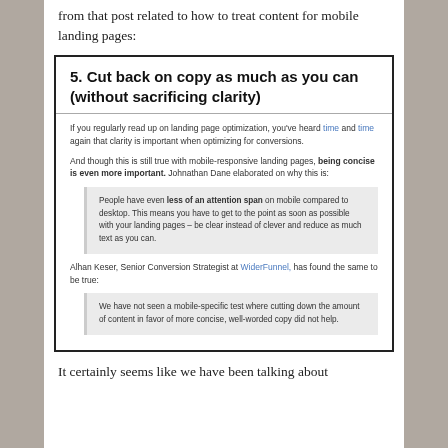from that post related to how to treat content for mobile landing pages:
5. Cut back on copy as much as you can (without sacrificing clarity)
If you regularly read up on landing page optimization, you've heard time and time again that clarity is important when optimizing for conversions.
And though this is still true with mobile-responsive landing pages, being concise is even more important. Johnathan Dane elaborated on why this is:
People have even less of an attention span on mobile compared to desktop. This means you have to get to the point as soon as possible with your landing pages – be clear instead of clever and reduce as much text as you can.
Alhan Keser, Senior Conversion Strategist at WiderFunnel, has found the same to be true:
We have not seen a mobile-specific test where cutting down the amount of content in favor of more concise, well-worded copy did not help.
It certainly seems like we have been talking about